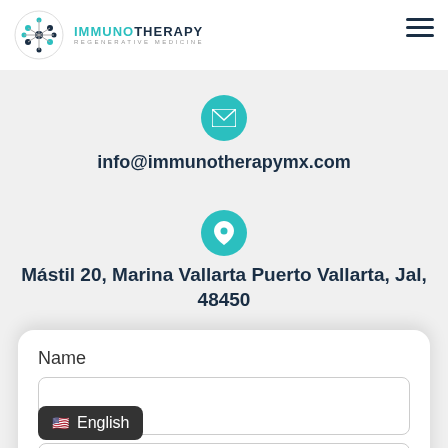[Figure (logo): Immunotherapy Regenerative Medicine logo with circular molecule icon and teal/dark text]
[Figure (infographic): Teal circular email icon with envelope symbol]
info@immunotherapymx.com
[Figure (infographic): Teal circular location pin icon]
Mástil 20, Marina Vallarta Puerto Vallarta, Jal, 48450
Name
[Figure (screenshot): English language switcher button with US flag emoji]